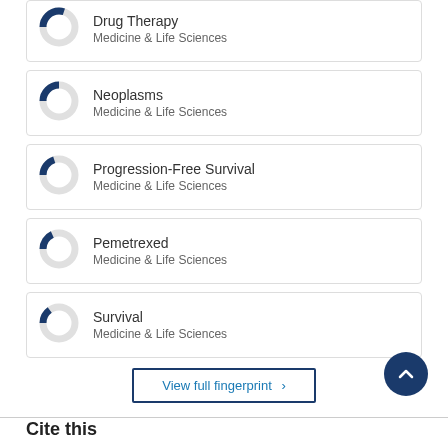[Figure (donut-chart): Donut chart partially filled with dark blue, approximately 30%]
Drug Therapy
Medicine & Life Sciences
[Figure (donut-chart): Donut chart partially filled with dark blue, approximately 25%]
Neoplasms
Medicine & Life Sciences
[Figure (donut-chart): Donut chart partially filled with dark blue, approximately 20%]
Progression-Free Survival
Medicine & Life Sciences
[Figure (donut-chart): Donut chart partially filled with dark blue, approximately 18%]
Pemetrexed
Medicine & Life Sciences
[Figure (donut-chart): Donut chart partially filled with dark blue, approximately 15%]
Survival
Medicine & Life Sciences
View full fingerprint >
Cite this